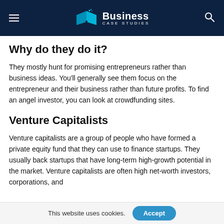Business Case Studies
Why do they do it?
They mostly hunt for promising entrepreneurs rather than business ideas. You'll generally see them focus on the entrepreneur and their business rather than future profits. To find an angel investor, you can look at crowdfunding sites.
Venture Capitalists
Venture capitalists are a group of people who have formed a private equity fund that they can use to finance startups. They usually back startups that have long-term high-growth potential in the market. Venture capitalists are often high net-worth investors, corporations, and
This website uses cookies.